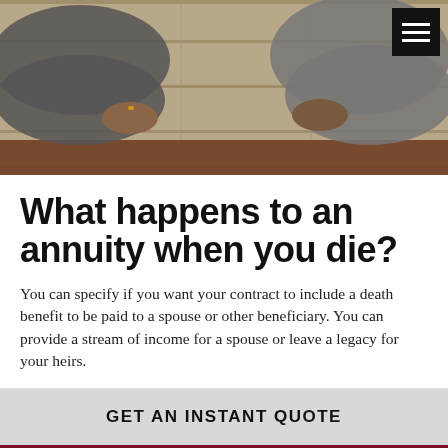[Figure (photo): Two people sitting at a wooden table, hands visible resting on the table surface. A hamburger menu icon (three white lines on black background) is visible in the top right corner.]
What happens to an annuity when you die?
You can specify if you want your contract to include a death benefit to be paid to a spouse or other beneficiary. You can provide a stream of income for a spouse or leave a legacy for your heirs.
GET AN INSTANT QUOTE
Call Now: (800) 383-2580